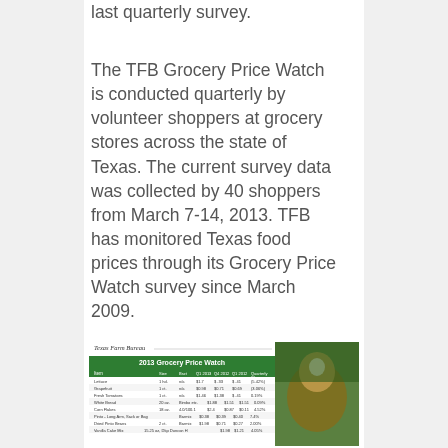last quarterly survey.
The TFB Grocery Price Watch is conducted quarterly by volunteer shoppers at grocery stores across the state of Texas. The current survey data was collected by 40 shoppers from March 7-14, 2013. TFB has monitored Texas food prices through its Grocery Price Watch survey since March 2009.
[Figure (screenshot): Thumbnail image of the 2013 Grocery Price Watch report by Texas Farm Bureau, showing a table of grocery prices alongside a photo of a cow.]